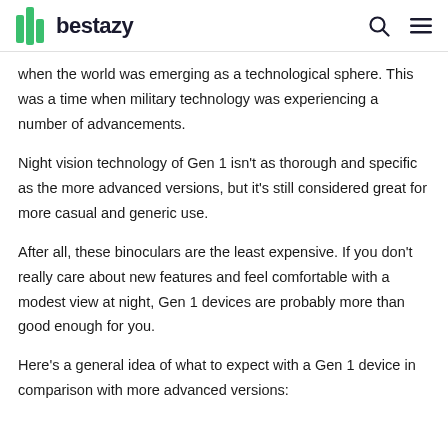bestazy
when the world was emerging as a technological sphere. This was a time when military technology was experiencing a number of advancements.
Night vision technology of Gen 1 isn't as thorough and specific as the more advanced versions, but it's still considered great for more casual and generic use.
After all, these binoculars are the least expensive. If you don't really care about new features and feel comfortable with a modest view at night, Gen 1 devices are probably more than good enough for you.
Here's a general idea of what to expect with a Gen 1 device in comparison with more advanced versions: